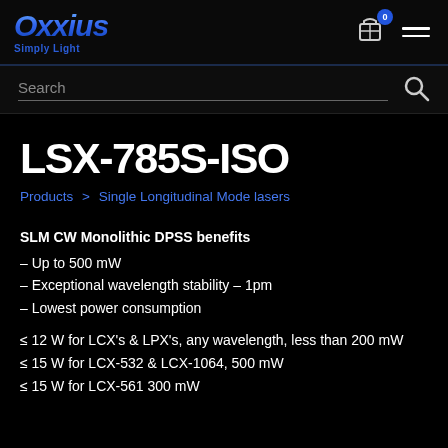Oxxius Simply Light — Navigation bar with cart (0) and menu
Search
LSX-785S-ISO
Products > Single Longitudinal Mode lasers
SLM CW Monolithic DPSS benefits
– Up to 500 mW
– Exceptional wavelength stability – 1pm
– Lowest power consumption
≤ 12 W for LCX's & LPX's, any wavelength, less than 200 mW
≤ 15 W for LCX-532 & LCX-1064, 500 mW
≤ 15 W for LCX-561 300 mW